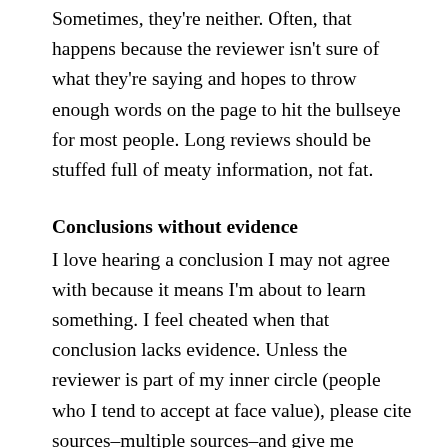Sometimes, they're neither. Often, that happens because the reviewer isn't sure of what they're saying and hopes to throw enough words on the page to hit the bullseye for most people. Long reviews should be stuffed full of meaty information, not fat.
Conclusions without evidence
I love hearing a conclusion I may not agree with because it means I'm about to learn something. I feel cheated when that conclusion lacks evidence. Unless the reviewer is part of my inner circle (people who I tend to accept at face value), please cite sources–multiple sources–and give me linkbacks so I can verify statements.